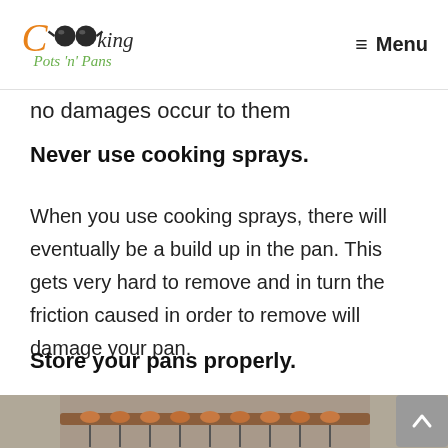Cooking Pots 'n' Pans | Menu
no damages occur to them
Never use cooking sprays.
When you use cooking sprays, there will eventually be a build up in the pan. This gets very hard to remove and in turn the friction caused in order to remove will damage your pan.
Store your pans properly.
[Figure (photo): Copper pots and pans hanging on a wooden rack mounted on a wall]